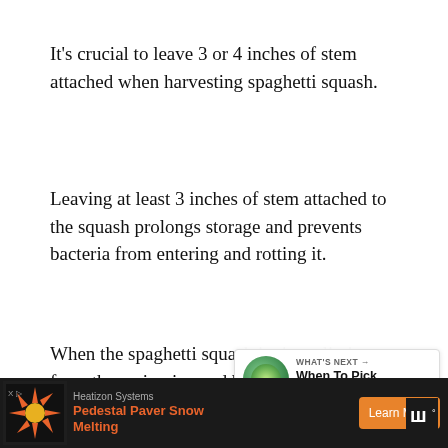It's crucial to leave 3 or 4 inches of stem attached when harvesting spaghetti squash.
Leaving at least 3 inches of stem attached to the squash prolongs storage and prevents bacteria from entering and rotting it.
When the spaghetti squash is ripe, clip it from the main vine and bring it inside to eat or cure for sto
Spaghetti squash should be rinsed and d… ripen, place it in a warm, sunny position. If there are any green areas on the squash, make sure they face
[Figure (screenshot): UI overlay showing heart/like button (green circle with heart icon), count '1', and share button]
[Figure (screenshot): What's Next widget showing a round squash image, label 'WHAT'S NEXT →', title 'When To Pick Squash']
[Figure (screenshot): Advertisement bar at bottom: Heatizon Systems - Pedestal Paver Snow Melting, Learn More button, TikTok icon]